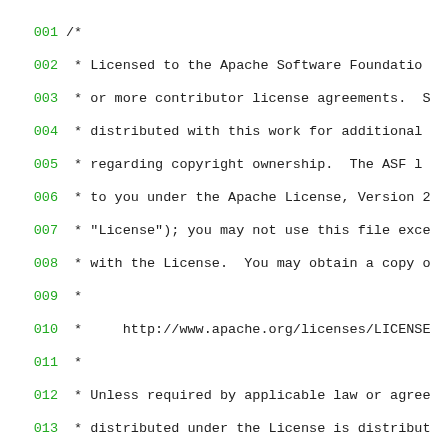Source code listing lines 001-027, Apache HBase procedure2 Java file with Apache License header and import statements.